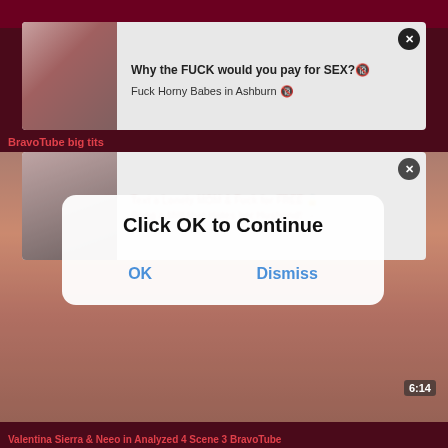[Figure (screenshot): Top thumbnail strip from adult video site]
[Figure (screenshot): Ad banner 1: Why the FUCK would you pay for SEX? Fuck Horny Babes in Ashburn]
BravoTube big tits
[Figure (screenshot): Ad banner 2 with blurred adult text]
[Figure (screenshot): Main video thumbnail background]
Click OK to Continue
OK    Dismiss
6:14
Valentina Sierra & Neeo in Analyzed 4 Scene 3 BravoTube